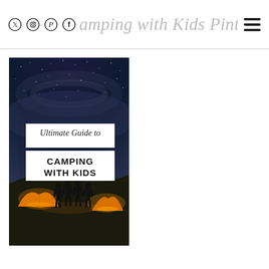Camping with Kids Pinterest Pin
[Figure (illustration): Pinterest pin graphic showing a nighttime camping scene with a starry sky and Milky Way. In the middle of the image are two white text boxes: the first reads 'Ultimate Guide to' in cursive script, the second reads 'CAMPING WITH KIDS' in bold serif text. The lower half shows silhouettes of four people standing between two glowing orange tents on a hillside at night.]